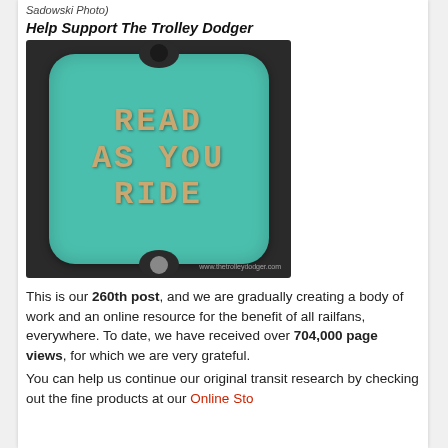Sadowski Photo)
Help Support The Trolley Dodger
[Figure (photo): A teal/turquoise enamel sign with rounded corners and mounting holes top and bottom, with raised stencil-style letters reading READ AS YOU RIDE in gold/bronze color. Watermark: www.thetrolleydodger.com]
This is our 260th post, and we are gradually creating a body of work and an online resource for the benefit of all railfans, everywhere. To date, we have received over 704,000 page views, for which we are very grateful.
You can help us continue our original transit research by checking out the fine products at our Online Store,